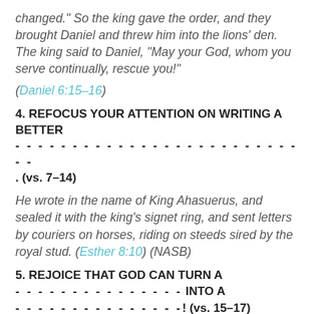changed." So the king gave the order, and they brought Daniel and threw him into the lions' den. The king said to Daniel, "May your God, whom you serve continually, rescue you!"
(Daniel 6:15-16)
4. REFOCUS YOUR ATTENTION ON WRITING A BETTER ___________________________. (vs. 7-14)
He wrote in the name of King Ahasuerus, and sealed it with the king's signet ring, and sent letters by couriers on horses, riding on steeds sired by the royal stud. (Esther 8:10) (NASB)
5. REJOICE THAT GOD CAN TURN A _______________ INTO A _______________! (vs. 15-17)